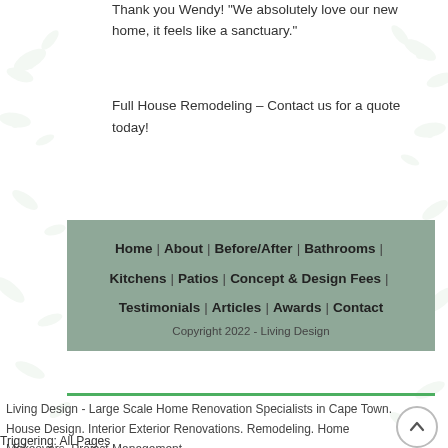Thank you Wendy!  "We absolutely love our new home, it feels like a sanctuary."
Full House Remodeling – Contact us for a quote today!
Home | About | Before/After | Bathrooms | Kitchens | Patios | Concept & Design Fees | Testimonials | Articles | Awards | Contact
Copyright 2022 - Living Design
Living Design - Large Scale Home Renovation Specialists in Cape Town. House Design. Interior Exterior Renovations. Remodeling. Home Makeovers. Project Management.
Triggering: All Pages